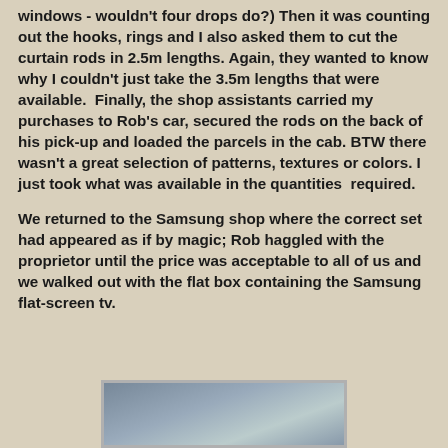windows - wouldn't four drops do?) Then it was counting out the hooks, rings and I also asked them to cut the curtain rods in 2.5m lengths. Again, they wanted to know why I couldn't just take the 3.5m lengths that were available.  Finally, the shop assistants carried my purchases to Rob's car, secured the rods on the back of his pick-up and loaded the parcels in the cab. BTW there wasn't a great selection of patterns, textures or colors. I just took what was available in the quantities  required.
We returned to the Samsung shop where the correct set had appeared as if by magic; Rob haggled with the proprietor until the price was acceptable to all of us and we walked out with the flat box containing the Samsung flat-screen tv.
[Figure (photo): Partial view of what appears to be a Samsung flat-screen TV, showing the bottom portion of the screen with a metallic/silver bezel, cropped at the bottom of the page.]